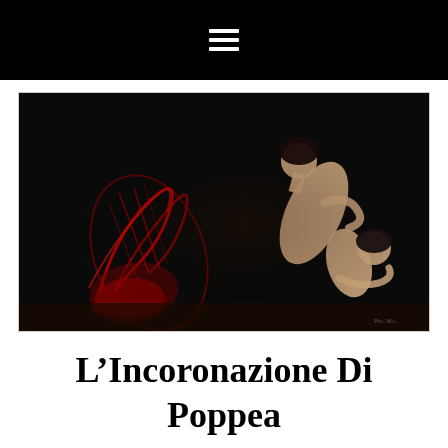☰
[Figure (photo): Dark stage photograph showing two performers in dramatic poses against a black background. One figure is arched backward while another crouches forward. Red abstract shapes or fabric are visible on the left side of the image. A small photographer watermark is visible in the lower right corner.]
L'Incoronazione Di Poppea